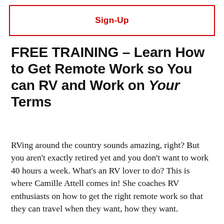Sign-Up
FREE TRAINING – Learn How to Get Remote Work so You can RV and Work on Your Terms
RVing around the country sounds amazing, right? But you aren't exactly retired yet and you don't want to work 40 hours a week. What's an RV lover to do? This is where Camille Attell comes in! She coaches RV enthusiasts on how to get the right remote work so that they can travel when they want, how they want.